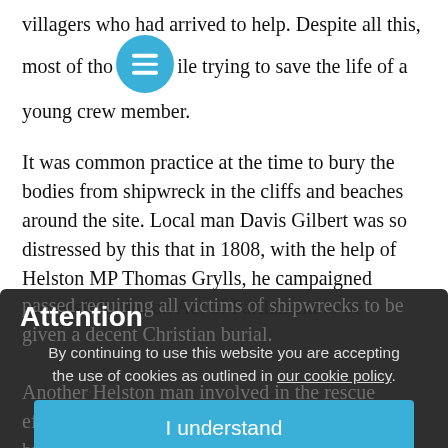villagers who had arrived to help. Despite all this, most of those aboard were drowned, including the captain, who died while trying to save the life of a young crew member.
It was common practice at the time to bury the bodies from shipwreck in the cliffs and beaches around the site. Local man Davis Gilbert was so distressed by this that in 1808, with the help of Helston MP Thomas Grylls, he campaigned successfully for an Act of Parliament to be passed requiring all victims of shipwrecks to be given a decent Christian burial.
Another Helston man involved in the rescue efforts, Henry Trengrouse, was equally horrified by the corpses along the tideline. He became obsessed with finding a way of saving more lives and spent years experimenting, eventually coming up with the rocket apparatus, or breeches buoy.
[Figure (other): Cookie consent modal overlay with title 'Attention', body text 'By continuing to use this website you are accepting the use of cookies as outlined in our cookie policy.' and a blue 'I understand' button.]